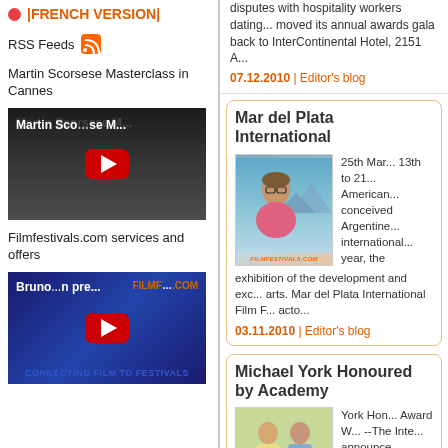|FRENCH VERSION|
RSS Feeds
Martin Scorsese Masterclass in Cannes
[Figure (screenshot): YouTube video thumbnail for Martin Scorsese Masterclass video with red play button]
Filmfestivals.com services and offers
[Figure (screenshot): YouTube video thumbnail for Bruno/Filmfestivals.com promotional video with red play button and 'CONNECTING FILM TO FESTIVALS' text]
disputes with hospitality workers dating... moved its annual awards gala back to InterContinental Hotel, 2151 A...
07.12.2010 | Editor's blog
Mar del Plata International
[Figure (photo): Photo of a person with glasses outdoors, with FILMFESTIVALS.COM watermark]
25th Mar... 13th to 21... American... conceived Argentine... international... year, the exhibition of the development and exc... arts. Mar del Plata International Film F... acto...
03.11.2010 | Editor's blog
Michael York Honoured by Academy
[Figure (photo): Photo of Michael York receiving an honor/award]
York Hon... Award W... --The Inte... announce...